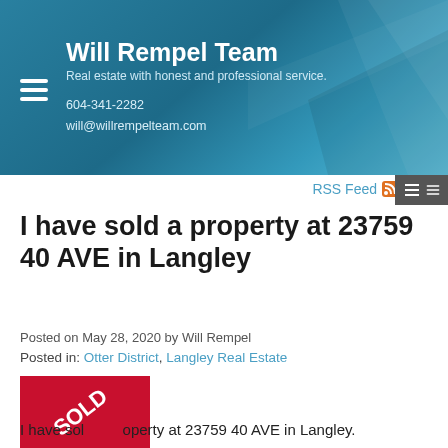Will Rempel Team
Real estate with honest and professional service.
604-341-2282
will@willrempelteam.com
RSS Feed
I have sold a property at 23759 40 AVE in Langley
Posted on May 28, 2020 by Will Rempel
Posted in: Otter District, Langley Real Estate
I have sold a property at 23759 40 AVE in Langley.